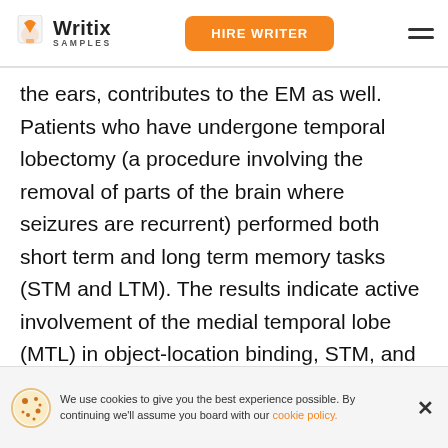Writix SAMPLES | HIRE WRITER
the ears, contributes to the EM as well. Patients who have undergone temporal lobectomy (a procedure involving the removal of parts of the brain where seizures are recurrent) performed both short term and long term memory tasks (STM and LTM). The results indicate active involvement of the medial temporal lobe (MTL) in object-location binding, STM, and LTM. Furthermore, the MTL framework serves both EM and possible episodic thinking. The hippocampus is a small curved structure in the MTL, which is responsible for t[he...] emo[tional...]
We use cookies to give you the best experience possible. By continuing we'll assume you board with our cookie policy.